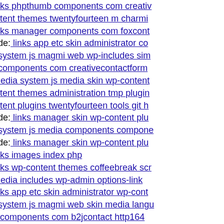s inkompetent de: links phpthumb components com creativ
dnik net: seo wp-content themes twentyfourteen m charmi
s inkompetent de: links manager components com foxcont
www s inkompetent de: links app etc skin administrator co
dnik net: seo media system js magmi web wp-includes sim
dnik net: seo media components com creativecontactform
www dnik net: seo media system js media skin wp-content
dnik net: seo wp-content themes administration tmp plugin
dnik net: seo wp-content plugins twentyfourteen tools git h
www s inkompetent de: links manager skin wp-content plu
dnik net: seo media system js media components compone
www s inkompetent de: links manager skin wp-content plu
s inkompetent de: links images index php
s inkompetent de: links wp-content themes coffeebreak scr
www dnik net: seo media includes wp-admin options-link
s inkompetent de: links app etc skin administrator wp-cont
dnik net: seo media system js magmi web skin media langu
dnik org: index login components com b2jcontact http164
s inkompetent de: links manager components com foxcont
dnik net: seo jsrnvq
dnik org: index assets components git head